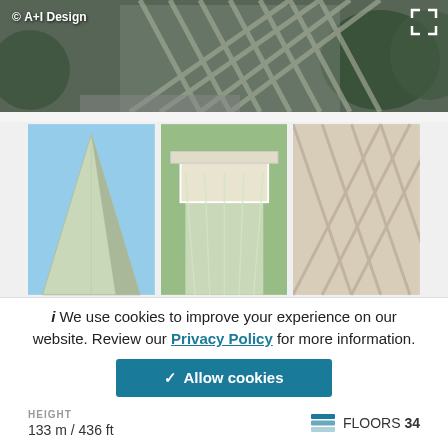[Figure (photo): Architectural building exterior with diagonal lattice facade, © A+I Design watermark top left, expand icon top right]
[Figure (photo): Three thumbnail gallery photos of a modern building: left shows triangular glass facade against blue sky, center shows top of building wrapped in plastic sheeting, right shows diagonal patterned facade detail]
We use cookies to improve your experience on our website. Review our Privacy Policy for more information.
✓ Allow cookies
HEIGHT
133 m / 436 ft
FLOORS 34